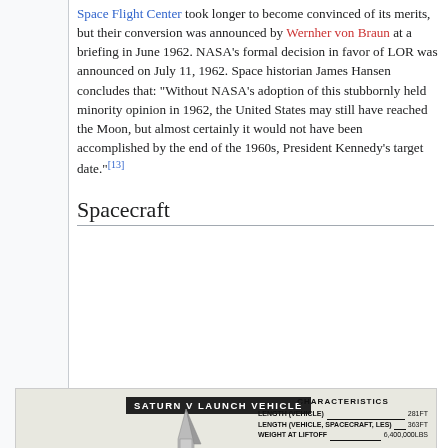Space Flight Center took longer to become convinced of its merits, but their conversion was announced by Wernher von Braun at a briefing in June 1962. NASA's formal decision in favor of LOR was announced on July 11, 1962. Space historian James Hansen concludes that: "Without NASA's adoption of this stubbornly held minority opinion in 1962, the United States may still have reached the Moon, but almost certainly it would not have been accomplished by the end of the 1960s, President Kennedy's target date."[13]
Spacecraft
[Figure (illustration): Saturn V Launch Vehicle diagram showing characteristics: Length (Vehicle) 281ft, Length Vehicle Spacecraft LES 363ft, Weight at Liftoff 6,400,000 lbs. Shows Apollo Spacecraft label pointing to rocket.]